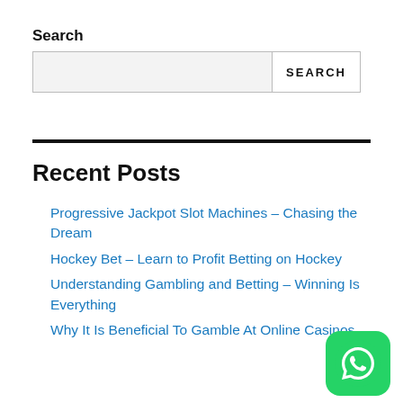Search
[Figure (other): Search input box with SEARCH button]
Recent Posts
Progressive Jackpot Slot Machines – Chasing the Dream
Hockey Bet – Learn to Profit Betting on Hockey
Understanding Gambling and Betting – Winning Is Everything
Why It Is Beneficial To Gamble At Online Casinos